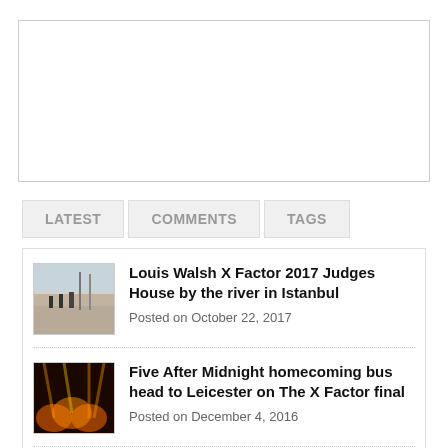[Figure (other): Empty white box with border at top of page]
LATEST
COMMENTS
TAGS
Louis Walsh X Factor 2017 Judges House by the river in Istanbul
Posted on October 22, 2017
Five After Midnight homecoming bus head to Leicester on The X Factor final
Posted on December 4, 2016
Sharon Osbourne forgets the name of her own act in the singoff on The X Factor 2016
Posted on October 16, 2016